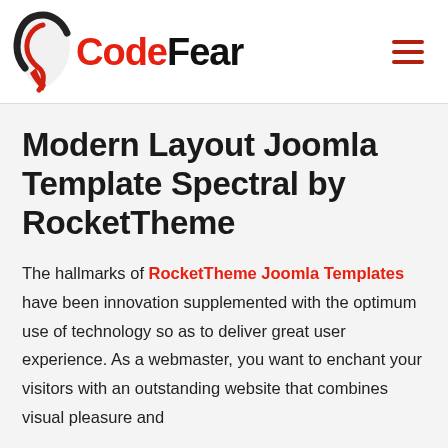CodeFear
Modern Layout Joomla Template Spectral by RocketTheme
The hallmarks of RocketTheme Joomla Templates have been innovation supplemented with the optimum use of technology so as to deliver great user experience. As a webmaster, you want to enchant your visitors with an outstanding website that combines visual pleasure and